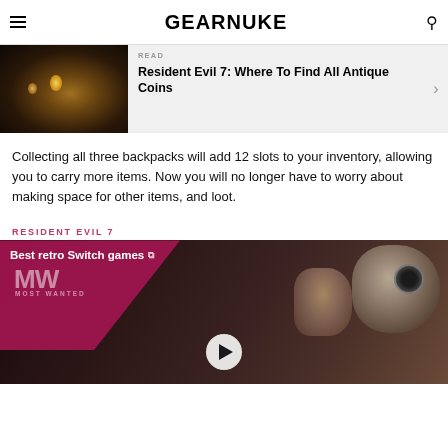GEARNUKE
[Figure (photo): Dark atmospheric scene with candlelight from a video game (Resident Evil 7)]
READ
Resident Evil 7: Where To Find All Antique Coins
Collecting all three backpacks will add 12 slots to your inventory, allowing you to carry more items. Now you will no longer have to worry about making space for other items, and loot.
RESIDENT EVIL 7
[Figure (screenshot): Video thumbnail showing 'Best retro Switch games' with Most Wanted logo overlay on a dark gaming scene with robot and character]